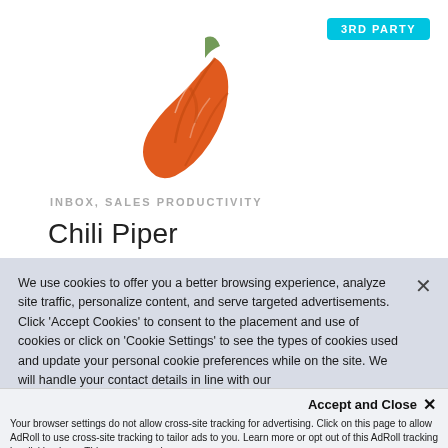[Figure (logo): Chili Piper logo: orange chili pepper icon]
3RD PARTY
INBOX, SALES PRODUCTIVITY
Chili Piper
We use cookies to offer you a better browsing experience, analyze site traffic, personalize content, and serve targeted advertisements. Click 'Accept Cookies' to consent to the placement and use of cookies or click on 'Cookie Settings' to see the types of cookies used and update your personal cookie preferences while on the site. We will handle your contact details in line with our Privacy Policy.
Accept and Close ×
Your browser settings do not allow cross-site tracking for advertising. Click on this page to allow AdRoll to use cross-site tracking to tailor ads to you. Learn more or opt out of this AdRoll tracking by clicking here. This message only appears once.